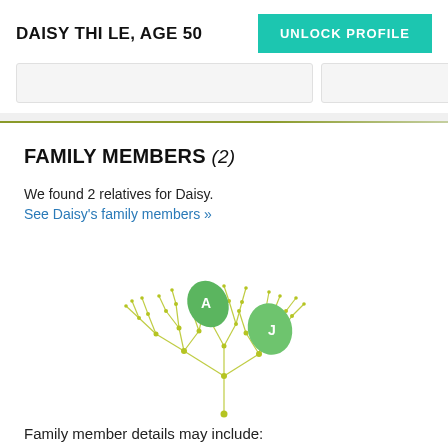DAISY THI LE, AGE 50
UNLOCK PROFILE
FAMILY MEMBERS (2)
We found 2 relatives for Daisy.
See Daisy's family members »
[Figure (illustration): Family tree network diagram with green leaf icons labeled A and J, connected by a web of yellow-green nodes and lines forming a tree shape]
Family member details may include: